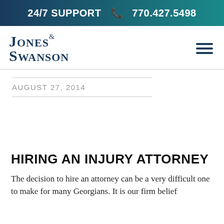24/7 SUPPORT  770.427.5498
[Figure (logo): Jones & Swanson law firm logo in dark navy blue serif text]
AUGUST 27, 2014
HIRING AN INJURY ATTORNEY
The decision to hire an attorney can be a very difficult one to make for many Georgians. It is our firm belief